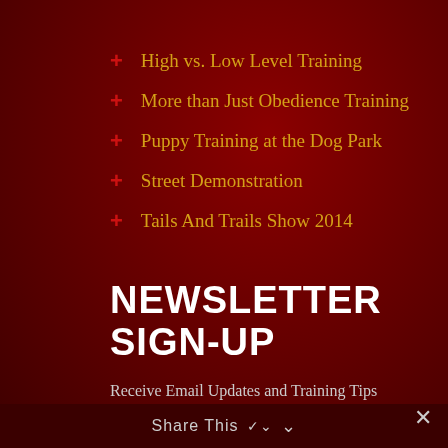+ High vs. Low Level Training
+ More than Just Obedience Training
+ Puppy Training at the Dog Park
+ Street Demonstration
+ Tails And Trails Show 2014
NEWSLETTER SIGN-UP
Receive Email Updates and Training Tips
Email Address
Enter Your Email Address
Share This ∨